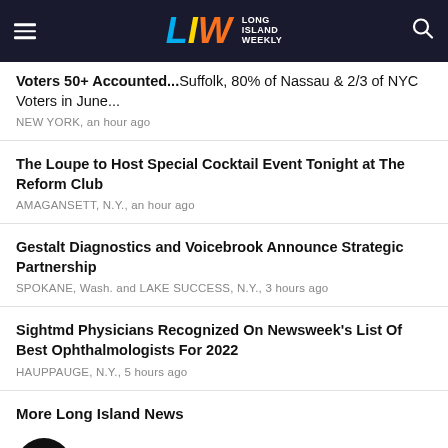LIW Long Island Weekly
Voters 50+ Accounted...Suffolk, 80% of Nassau & 2/3 of NYC Voters in June...
NEW YORK, an hour ago
The Loupe to Host Special Cocktail Event Tonight at The Reform Club
AMAGANSETT, N.Y., an hour ago
Gestalt Diagnostics and Voicebrook Announce Strategic Partnership
SPOKANE, Wash. and LAKE SUCCESS, N.Y., 3 hours ago
Sightmd Physicians Recognized On Newsweek's List Of Best Ophthalmologists For 2022
HAUPPAUGE, N.Y., 5 hours ago
More Long Island News
[Figure (logo): Instagram logo circle with longislandweekly username]